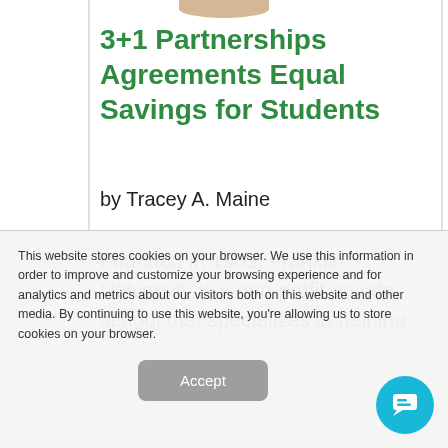[Figure (illustration): Partial tan/beige rounded shape at the top center, appears to be the bottom of a circular logo or illustration]
3+1 Partnerships Agreements Equal Savings for Students
by Tracey A. Maine
Founded in 1902, Franklin University is a non-profit private school that specializes in helping
This website stores cookies on your browser. We use this information in order to improve and customize your browsing experience and for analytics and metrics about our visitors both on this website and other media. By continuing to use this website, you're allowing us to store cookies on your browser.